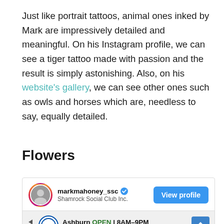Just like portrait tattoos, animal ones inked by Mark are impressively detailed and meaningful. On his Instagram profile, we can see a tiger tattoo made with passion and the result is simply astonishing. Also, on his website's gallery, we can see other ones such as owls and horses which are, needless to say, equally detailed.
Flowers
[Figure (screenshot): Instagram embedded post widget showing user markmahoney_ssc (Shamrock Social Club Inc.) with a verified badge, a View profile button, and a partial tattoo image below. An advertisement for Lidl in Ashburn (OPEN 8AM-9PM, 44175 Ashbrook Marketplace Plaza) is overlaid at the bottom.]